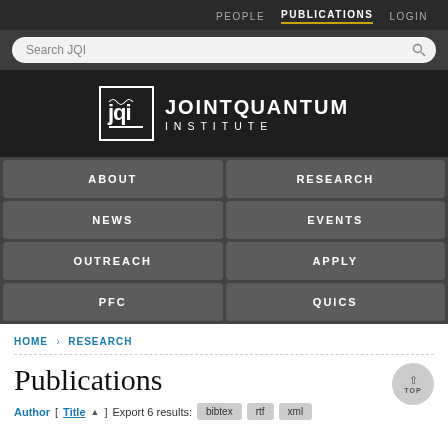PEOPLE  PUBLICATIONS  LOGIN
[Figure (logo): Joint Quantum Institute logo with JQI emblem and text JOINT QUANTUM INSTITUTE]
ABOUT  RESEARCH  NEWS  EVENTS  OUTREACH  APPLY  PFC  QUICS
HOME > RESEARCH
Publications
Author [ Title ] Export 6 results:  bibtex  rtf  xml